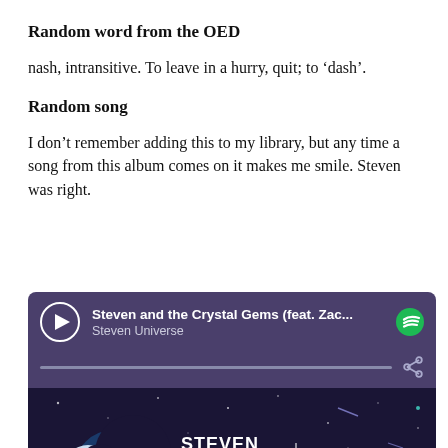Random word from the OED
nash, intransitive. To leave in a hurry, quit; to ‘dash’.
Random song
I don’t remember adding this to my library, but any time a song from this album comes on it makes me smile. Steven was right.
[Figure (screenshot): Spotify player card showing 'Steven and the Crystal Gems (feat. Zac...' by Steven Universe, with play button, progress bar, share icon, Spotify logo, and album art for Steven Universe Soundtrack: Volume 1]